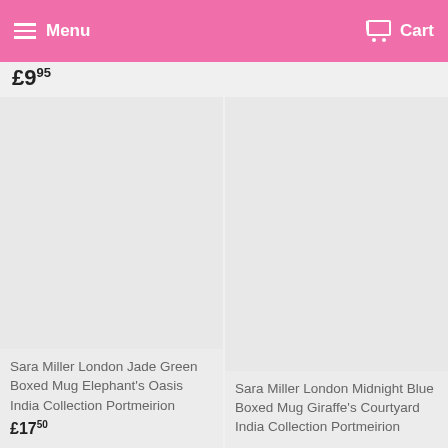Menu   Cart
£9.95
Sara Miller London Jade Green Boxed Mug Elephant's Oasis India Collection Portmeirion
Sara Miller London Midnight Blue Boxed Mug Giraffe's Courtyard India Collection Portmeirion